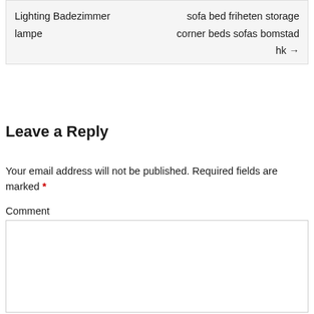| Lighting Badezimmer lampe | sofa bed friheten storage corner beds sofas bomstad hk → |
Leave a Reply
Your email address will not be published. Required fields are marked *
Comment